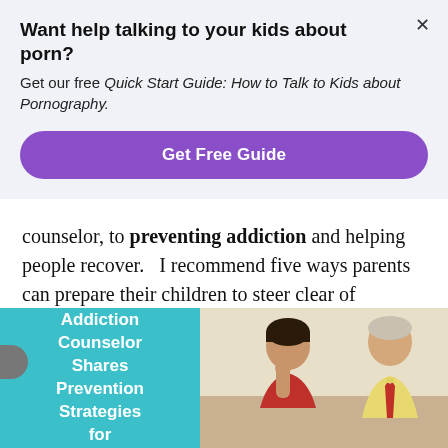Want help talking to your kids about porn?
Get our free Quick Start Guide: How to Talk to Kids about Pornography.
Get Free Guide
counselor, to preventing addiction and helping people recover.   I recommend five ways parents can prepare their children to steer clear of pornography while growing up in our porn-saturated society.
[Figure (photo): A young boy in a red shirt sitting across from an older man in a yellow shirt with a red tie, appearing to have a counseling conversation. Left side has a teal/cyan colored panel with text overlay.]
Addiction Counselor Shares Prevention Strategies for